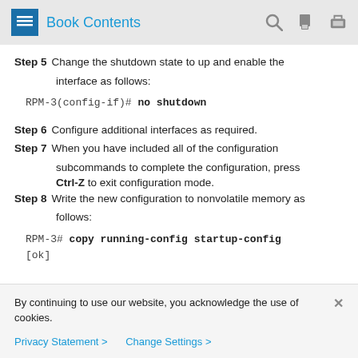Book Contents
Step 5 Change the shutdown state to up and enable the interface as follows:
RPM-3(config-if)# no shutdown
Step 6 Configure additional interfaces as required.
Step 7 When you have included all of the configuration subcommands to complete the configuration, press Ctrl-Z to exit configuration mode.
Step 8 Write the new configuration to nonvolatile memory as follows:
RPM-3# copy running-config startup-config
[ok]
By continuing to use our website, you acknowledge the use of cookies.
Privacy Statement > Change Settings >